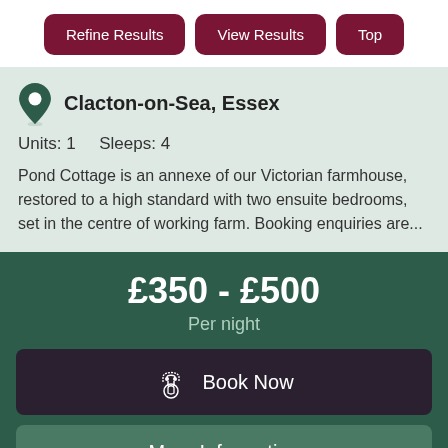Refine Results
View Results
Top
Clacton-on-Sea, Essex
Units: 1    Sleeps: 4
Pond Cottage is an annexe of our Victorian farmhouse, restored to a high standard with two ensuite bedrooms, set in the centre of working farm. Booking enquiries are...
£350 - £500
Per night
Book Now
More Information